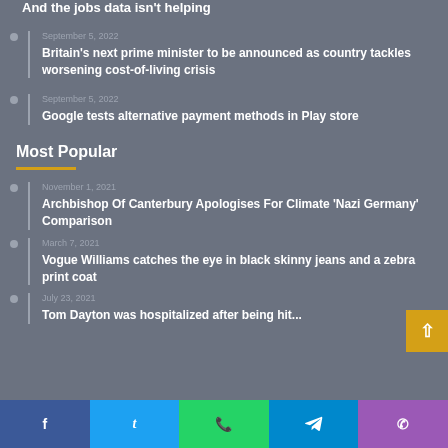And the jobs data isn't helping
September 5, 2022 — Britain's next prime minister to be announced as country tackles worsening cost-of-living crisis
September 5, 2022 — Google tests alternative payment methods in Play store
Most Popular
November 1, 2021 — Archbishop Of Canterbury Apologises For Climate 'Nazi Germany' Comparison
March 7, 2021 — Vogue Williams catches the eye in black skinny jeans and a zebra print coat
July 23, 2021 — Tom Dayton was hospitalized after being hit...